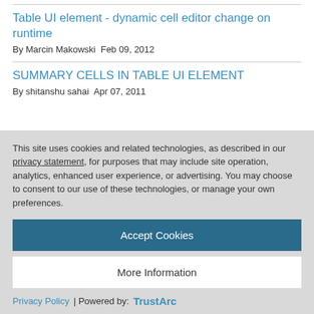Table UI element - dynamic cell editor change on runtime
By Marcin Makowski  Feb 09, 2012
SUMMARY CELLS IN TABLE UI ELEMENT
By shitanshu sahai  Apr 07, 2011
This site uses cookies and related technologies, as described in our privacy statement, for purposes that may include site operation, analytics, enhanced user experience, or advertising. You may choose to consent to our use of these technologies, or manage your own preferences.
Accept Cookies
More Information
Privacy Policy | Powered by: TrustArc